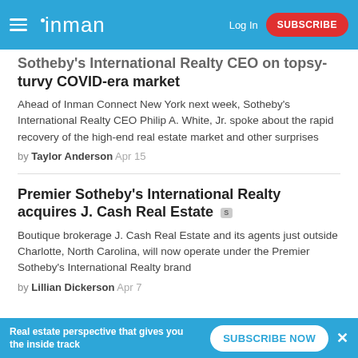inman | Log In | SUBSCRIBE
Sotheby's International Realty CEO on topsy-turvy COVID-era market
Ahead of Inman Connect New York next week, Sotheby's International Realty CEO Philip A. White, Jr. spoke about the rapid recovery of the high-end real estate market and other surprises
by Taylor Anderson Apr 15
Premier Sotheby's International Realty acquires J. Cash Real Estate
Boutique brokerage J. Cash Real Estate and its agents just outside Charlotte, North Carolina, will now operate under the Premier Sotheby's International Realty brand
by Lillian Dickerson Apr 7
Real estate perspective that gives you the inside track | SUBSCRIBE NOW